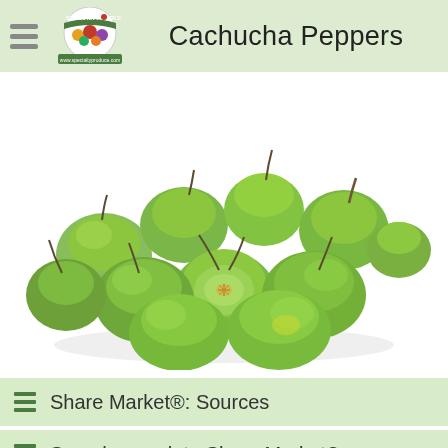Cachucha Peppers
[Figure (photo): A pile of green Cachucha peppers, one halved to show interior seeds, on a white background.]
Share Market®: Sources
Search complete Share Market®